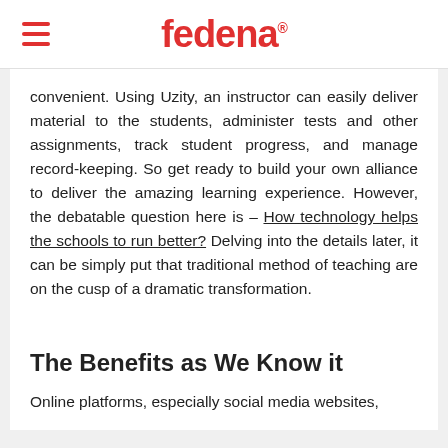fedena
convenient. Using Uzity, an instructor can easily deliver material to the students, administer tests and other assignments, track student progress, and manage record-keeping. So get ready to build your own alliance to deliver the amazing learning experience. However, the debatable question here is – How technology helps the schools to run better? Delving into the details later, it can be simply put that traditional method of teaching are on the cusp of a dramatic transformation.
The Benefits as We Know it
Online platforms, especially social media websites,